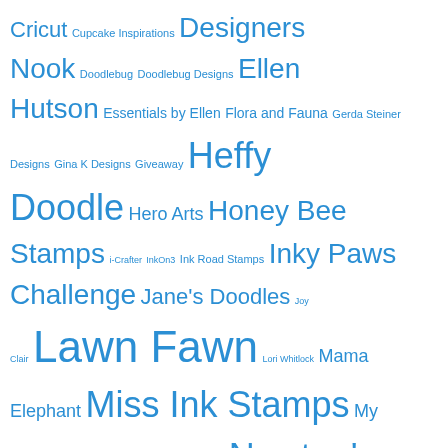[Figure (infographic): Tag cloud of crafting/stamp brand names in varying sizes and shades of blue, indicating frequency/popularity. Brands include Cricut, Designers Nook, Doodlebug, Ellen Hutson, Essentials by Ellen, Flora and Fauna, Gerda Steiner Designs, Gina K Designs, Giveaway, Heffy Doodle, Hero Arts, Honey Bee Stamps, i-Crafter, InkOn3, Ink Road Stamps, Inky Paws Challenge, Jane's Doodles, Joy Clair, Lawn Fawn, Lori Whitlock, Mama Elephant, Miss Ink Stamps, My Favorite Things, Neat and Tangled, Newton's Nook, Newtons Nook, Paperie Ink, Paper Smooches, Pawsome Stamps, Pear Blossom Press, Pink & Main, Poppystamps, Pretty Pink Posh, Reverse Confetti, Sassy & Crafty, Scrapbook & Cards Today, Simon Says Stamp, Sizzix, and more.]